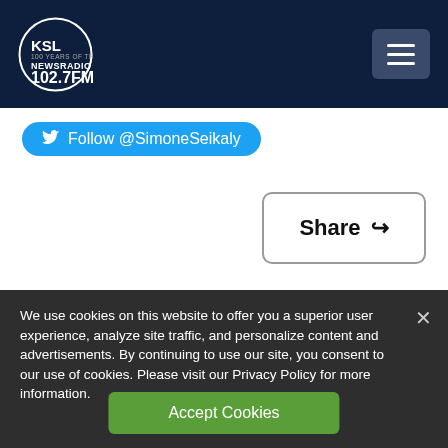KSL NewsRadio 102.7FM — 100 Years of Trust
Follow @SimoneSeikaly
Share
[Figure (photo): Article image strip showing blue sky, golden/orange landscape, and light cloudy sky sections]
We use cookies on this website to offer you a superior user experience, analyze site traffic, and personalize content and advertisements. By continuing to use our site, you consent to our use of cookies. Please visit our Privacy Policy for more information.
Accept Cookies